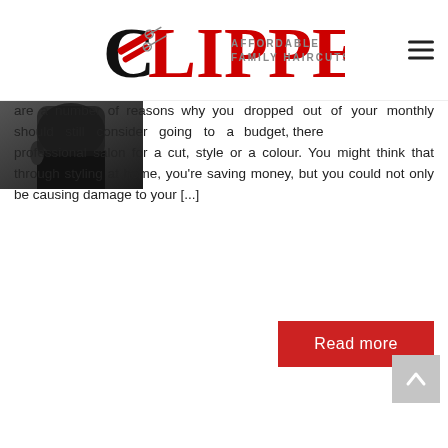CLIPPERS AFFORDABLE FAMILY HAIRCUTS
[Figure (photo): Back of a person's head showing a short haircut]
dropped out of your monthly budget, there are a number of reasons why you should still consider going to a professional salon for a cut, style or a colour. You might think that through styling at home, you're saving money, but you could not only be causing damage to your [...]
Read more